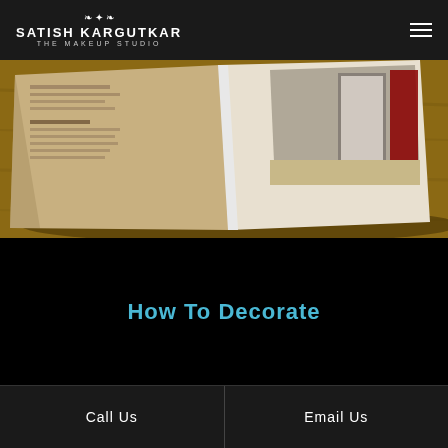Satish Kargutkar — The Makeup Studio
[Figure (photo): An open book or brochure lying on a wooden table, showing interior pages with text and a photo of a room with a door and red curtain visible.]
How To Decorate
Call Us
Email Us